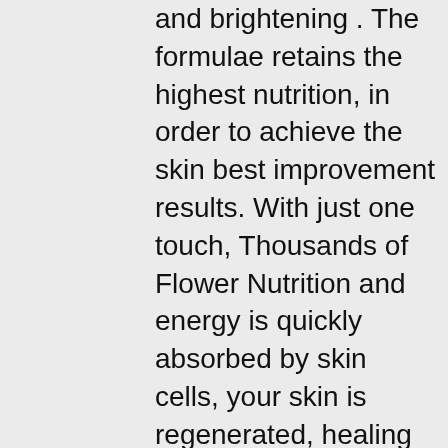and brightening . The formulae retains the highest nutrition, in order to achieve the skin best improvement results. With just one touch, Thousands of Flower Nutrition and energy is quickly absorbed by skin cells, your skin is regenerated, healing and repaired naturally.
9 Magical results for the skin:
1. Smoothes skin blemishes: diminishes dark spots, pigmentation, and relieves redness
2. anti-inflammatory: Reduce inflammation caused by Acne and prevent the spread of bacteria